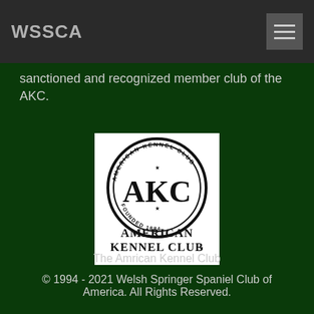WSSCA
sanctioned and recognized member club of the AKC.
[Figure (logo): American Kennel Club logo: circular seal with 'AMERICAN KENNEL CLUB' text around the border and 'FOUNDED 1884', with 'AKC' monogram in center. Below the seal text reads 'AMERICAN KENNEL CLUB℠' in large letters.]
The Amrican Kennel Club
© 1994 - 2021 Welsh Springer Spaniel Club of America. All Rights Reserved.